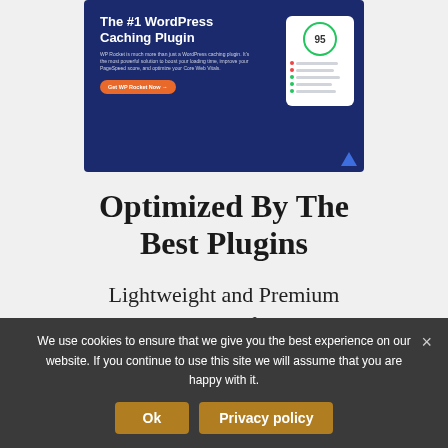[Figure (screenshot): Advertisement banner for WP Rocket WordPress Caching Plugin with dark blue background, showing plugin title, description text, orange CTA button, and a white score card with green circle showing 95]
Optimized By The Best Plugins
Lightweight and Premium Plugins are key for adding
We use cookies to ensure that we give you the best experience on our website. If you continue to use this site we will assume that you are happy with it.